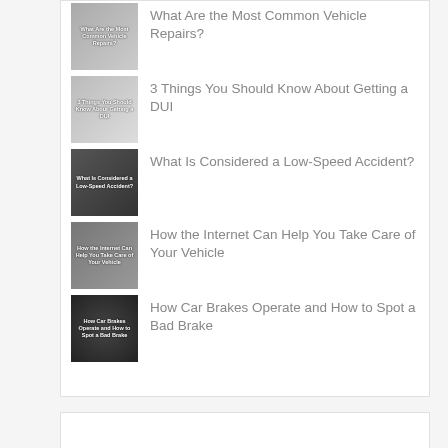What Are the Most Common Vehicle Repairs?
3 Things You Should Know About Getting a DUI
What Is Considered a Low-Speed Accident?
How the Internet Can Help You Take Care of Your Vehicle
How Car Brakes Operate and How to Spot a Bad Brake